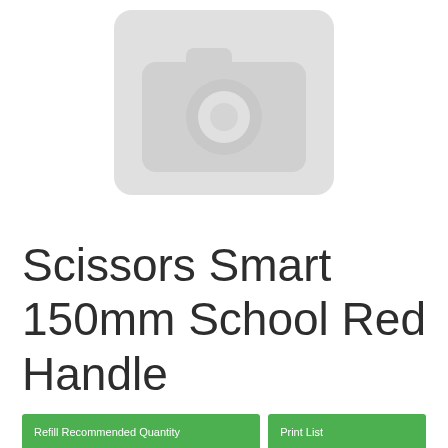[Figure (illustration): Gray placeholder image icon showing a camera silhouette on a light gray rounded rectangle background]
Scissors Smart 150mm School Red Handle
Refill Recommended Quantity
Print List